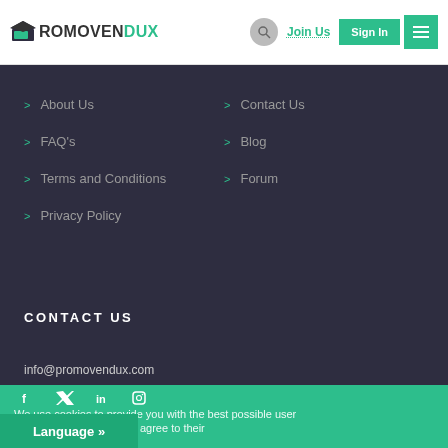PROMOVENDUX — Join Us | Sign In
About Us
Contact Us
FAQ's
Blog
Terms and Conditions
Forum
Privacy Policy
CONTACT US
info@promovendux.com
We use cookies to provide you with the best possible user ... nuing to use our site, you agree to their
Language »